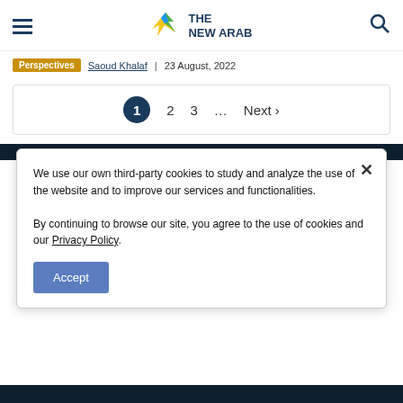The New Arab – navigation header with hamburger menu, logo, and search icon
Perspectives | Saoud Khalaf | 23 August, 2022
1 2 3 … Next ›
We use our own third-party cookies to study and analyze the use of the website and to improve our services and functionalities.

By continuing to browse our site, you agree to the use of cookies and our Privacy Policy.

Accept